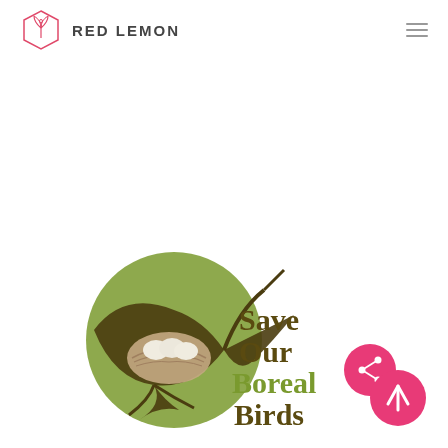RED LEMON
[Figure (logo): Save Our Boreal Birds logo with a bird nest containing eggs on a green circle background, accompanied by the text 'Save Our Boreal Birds' in olive/dark olive serif font]
[Figure (other): Share button (pink circle with share icon) and scroll-to-top button (pink circle with up arrow) in bottom right corner]